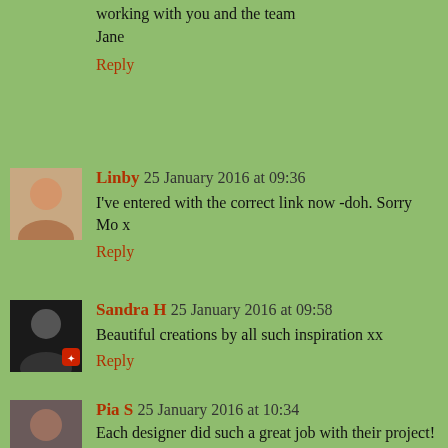working with you and the team
Jane
Reply
Linby 25 January 2016 at 09:36
I've entered with the correct link now -doh. Sorry Mo x
Reply
Sandra H 25 January 2016 at 09:58
Beautiful creations by all such inspiration xx
Reply
Pia S 25 January 2016 at 10:34
Each designer did such a great job with their project!
As for yours, Maureen, I find it very stylish and you've got quite some bargains put on there.
Reply